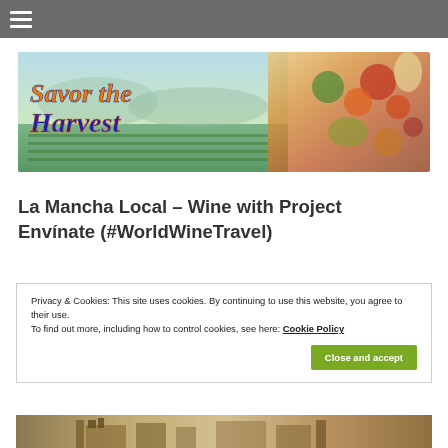Navigation menu
[Figure (illustration): Savor the Harvest banner with colorful illustrated text in blue and orange over a painted vineyard landscape on the left and colorful produce/vegetables on the right]
La Mancha Local – Wine with Project Envínate (#WorldWineTravel)
Privacy & Cookies: This site uses cookies. By continuing to use this website, you agree to their use.
To find out more, including how to control cookies, see here: Cookie Policy
Close and accept
[Figure (photo): Partial bottom strip showing a photo of what appears to be a historic building or monument]